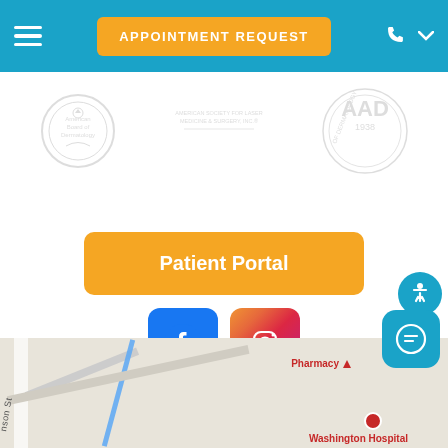APPOINTMENT REQUEST
[Figure (logo): American Board of Dermatology circular seal logo (greyed out)]
[Figure (logo): American Society for Laser Medicine & Surgery Inc. logo (greyed out)]
[Figure (logo): AAD 1938 American Academy of Dermatology circular logo (greyed out)]
[Figure (screenshot): Orange Patient Portal button]
[Figure (screenshot): Facebook social media icon button (blue rounded square)]
[Figure (screenshot): Instagram social media icon button (gradient rounded square)]
[Figure (screenshot): Blue accessibility icon button (circle with person icon)]
[Figure (map): Partial Google Maps view showing streets near Washington Hospital, with Pharmacy label visible]
[Figure (screenshot): Teal chat/message button in bottom right corner]